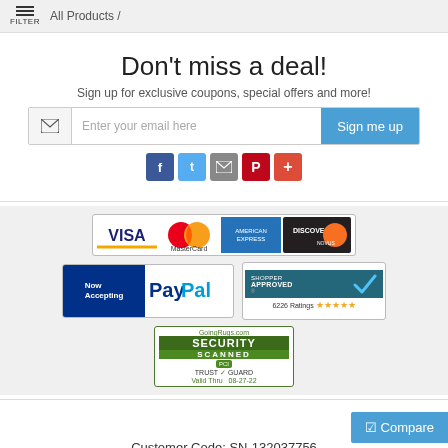FILTER / All Products /
Don't miss a deal!
Sign up for exclusive coupons, special offers and more!
[Figure (infographic): Email signup form with envelope icon, placeholder 'Enter your email here', and 'Sign me up' blue button]
[Figure (infographic): Social sharing icons: Facebook, Twitter, Email, Pinterest, Plus]
[Figure (infographic): Payment badges: Visa, MasterCard, American Express, Discover credit cards; Now Accepting PayPal; Shopper Approved 6226 Ratings 5 stars; GoingRugs.com Security Scanned Trust Guard PCI Valid Thru 08-27-22]
Customer Code: SN-132037756
© 2022 - GoingRugs